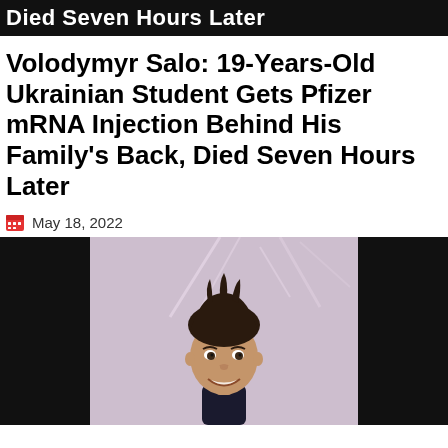Died Seven Hours Later
Volodymyr Salo: 19-Years-Old Ukrainian Student Gets Pfizer mRNA Injection Behind His Family's Back, Died Seven Hours Later
May 18, 2022
[Figure (photo): Portrait photo of a young man with dark spiky hair, smiling, wearing dark clothing, against a light decorative background. Photo is centered on a dark/black background.]